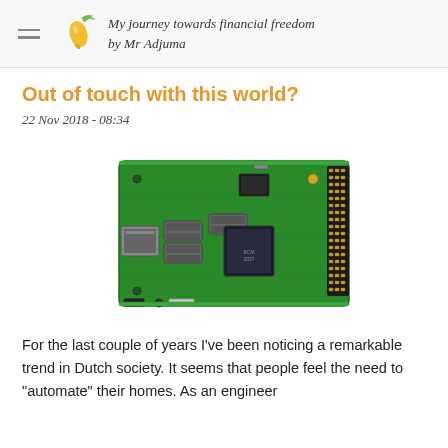My journey towards financial freedom by Mr Adjuma
Out of touch with this world?
22 Nov 2018 - 08:34
[Figure (photo): A Raspberry Pi single-board computer photographed from above at an angle, showing the green PCB with USB ports, Ethernet port, GPIO pins, and various chips]
For the last couple of years I've been noticing a remarkable trend in Dutch society. It seems that people feel the need to "automate" their homes. As an engineer